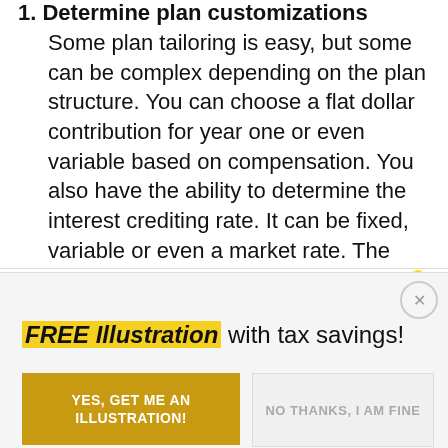1. Determine plan customizations Some plan tailoring is easy, but some can be complex depending on the plan structure. You can choose a flat dollar contribution for year one or even variable based on compensation. You also have the ability to determine the interest crediting rate. It can be fixed, variable or even a market rate. The decisions should not be taken lightly. 💡
FREE Illustration with tax savings!
YES, GET ME AN ILLUSTRATION!
NO THANKS, I AM FINE